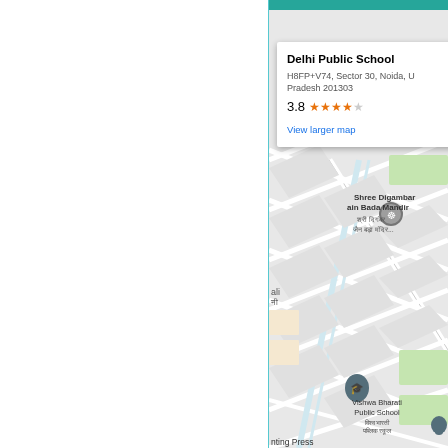[Figure (map): Google Maps screenshot showing Delhi Public School location in Sector 30, Noida, with an info card popup showing the school name, address (H8FP+V74, Sector 30, Noida, Uttar Pradesh 201303), rating 3.8 stars, and a 'View larger map' link. The map shows nearby landmarks including Shree Digambar Jain Bada Mandir and Vishwa Bharati Public School.]